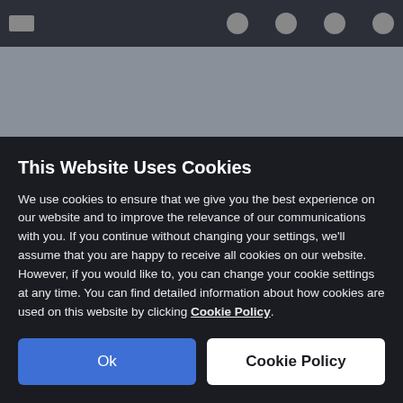[Figure (screenshot): Blurred website background with dark navigation bar at top, dark overlay showing a quote mark icon in blue and blurred text content behind the cookie consent banner.]
This Website Uses Cookies
We use cookies to ensure that we give you the best experience on our website and to improve the relevance of our communications with you. If you continue without changing your settings, we'll assume that you are happy to receive all cookies on our website. However, if you would like to, you can change your cookie settings at any time. You can find detailed information about how cookies are used on this website by clicking Cookie Policy.